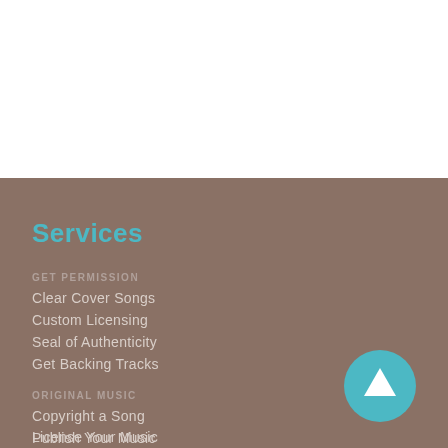Services
GET PERMISSION
Clear Cover Songs
Custom Licensing
Seal of Authenticity
Get Backing Tracks
ORIGINAL MUSIC
Copyright a Song
Publish Your Music
License Your Music
[Figure (illustration): Circular teal button with white upward-pointing arrow, scroll-to-top button]